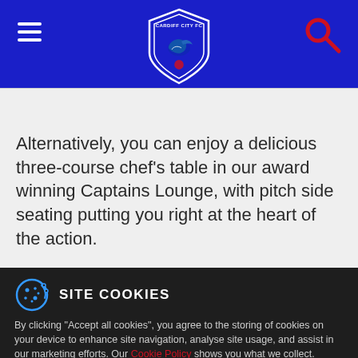Cardiff City FC navigation header with hamburger menu, logo, and search icon
Alternatively, you can enjoy a delicious three-course chef’s table in our award winning Captains Lounge, with pitch side seating putting you right at the heart of the action.
SITE COOKIES
By clicking “Accept all cookies”, you agree to the storing of cookies on your device to enhance site navigation, analyse site usage, and assist in our marketing efforts. Our Cookie Policy shows you what we collect.